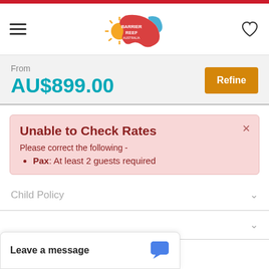[Figure (logo): Barrier Reef Australia logo with colorful map of Australia silhouette and sun]
From
AU$899.00
Refine
Unable to Check Rates
Please correct the following -
Pax: At least 2 guests required
Child Policy
Leave a message